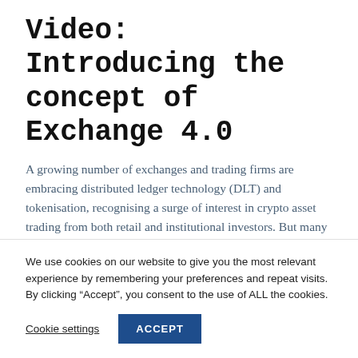Video: Introducing the concept of Exchange 4.0
A growing number of exchanges and trading firms are embracing distributed ledger technology (DLT) and tokenisation, recognising a surge of interest in crypto asset trading from both retail and institutional investors. But many of the venues are replicating silo-based models and missing out on
We use cookies on our website to give you the most relevant experience by remembering your preferences and repeat visits. By clicking “Accept”, you consent to the use of ALL the cookies.
Cookie settings
ACCEPT